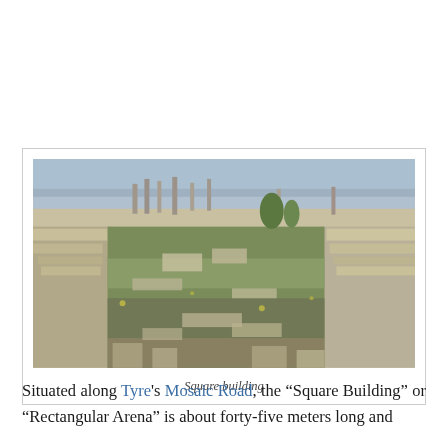[Figure (photo): Aerial view of ancient ruins known as the Square Building or Rectangular Arena at Tyre, showing stone structures, grassy overgrowth, and columns in background against a hazy sky]
Square building
Situated along Tyre's Mosaic Road, the "Square Building" or "Rectangular Arena" is about forty-five meters long and